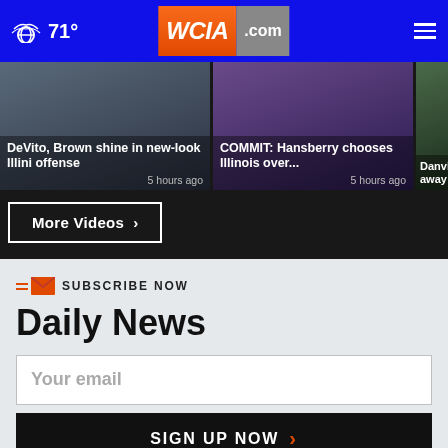71° WCIA.com
DeVito, Brown shine in new-look Illini offense — 5 hours ago
COMMIT: Hansberry chooses Illinois over... — 5 hours ago
Danvil away f...
More Videos ›
SUBSCRIBE NOW
Daily News
Your email
SIGN UP NOW ›